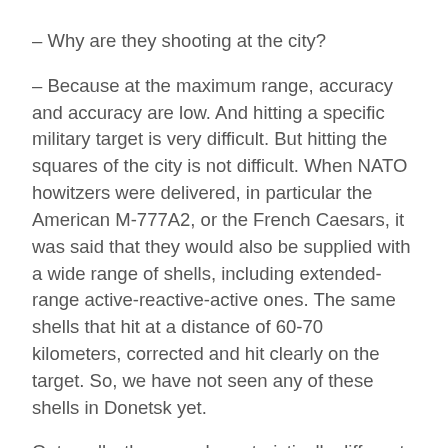– Why are they shooting at the city?
– Because at the maximum range, accuracy and accuracy are low. And hitting a specific military target is very difficult. But hitting the squares of the city is not difficult. When NATO howitzers were delivered, in particular the American M-777A2, or the French Caesars, it was said that they would also be supplied with a wide range of shells, including extended-range active-reactive-active ones. The same shells that hit at a distance of 60-70 kilometers, corrected and hit clearly on the target. So, we have not seen any of these shells in Donetsk yet.
Outwardly, they are characteristically different from